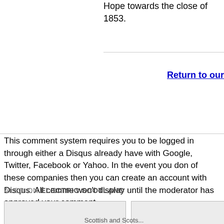Hope towards the close of 1853.
Return to our
This comment system requires you to be logged in through either a Disqus already have with Google, Twitter, Facebook or Yahoo. In the event you don of these companies then you can create an account with Disqus. All comme won't display until the moderator has approved your comment.
ALSO ON ELECTRIC SCOTLAND